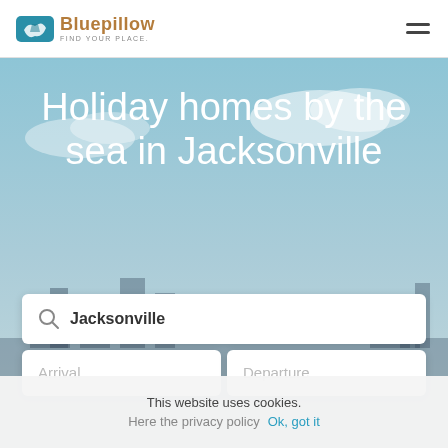[Figure (logo): Bluepillow logo with blue pillow icon and tagline FIND YOUR PLACE.]
Holiday homes by the sea in Jacksonville
Jacksonville (search box)
Arrival
Departure
This website uses cookies.
Here the privacy policy   Ok, got it